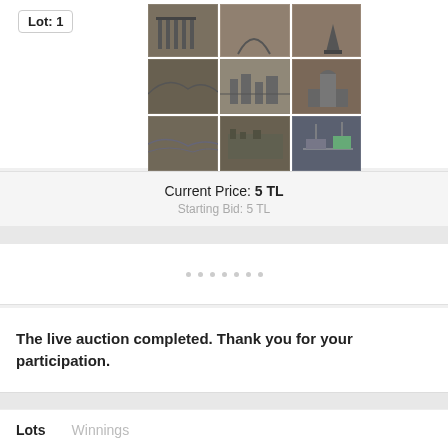Lot: 1
[Figure (photo): Collage of multiple vintage black and white postcards showing various landscape and architectural scenes]
Current Price: 5 TL
Starting Bid: 5 TL
- - - - - - -
The live auction completed. Thank you for your participation.
Lots    Winnings